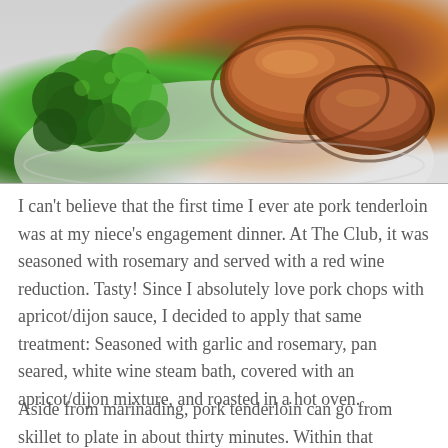[Figure (photo): Photo of a white plate with broccoli florets on the left and glazed pork tenderloin slices on the right, shown from above.]
I can't believe that the first time I ever ate pork tenderloin was at my niece's engagement dinner.  At The Club, it was seasoned with rosemary and served with a red wine reduction.  Tasty!  Since I absolutely love pork chops with apricot/dijon sauce, I decided to apply that same treatment: Seasoned with garlic and rosemary, pan seared, white wine steam bath, covered with an apricot/dijon mixture, and roasted in a hot oven.
Aside from marinading, pork tenderloin can go from skillet to plate in about thirty minutes.  Within that